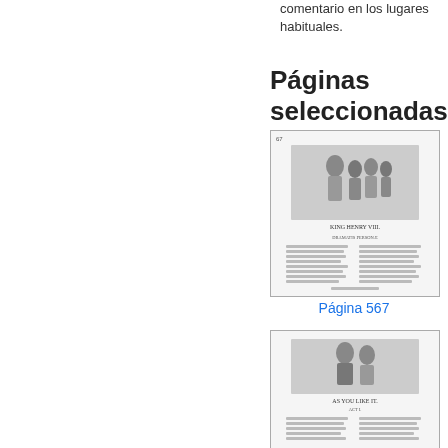comentario en los lugares habituales.
Páginas seleccionadas
[Figure (illustration): Thumbnail of a book page showing an illustration of King Henry VIII with figures, and text below in two columns. Title reads KING HENRY VIII.]
Página 567
[Figure (illustration): Thumbnail of a book page showing an illustration of figures from As You Like It, with text in two columns below.]